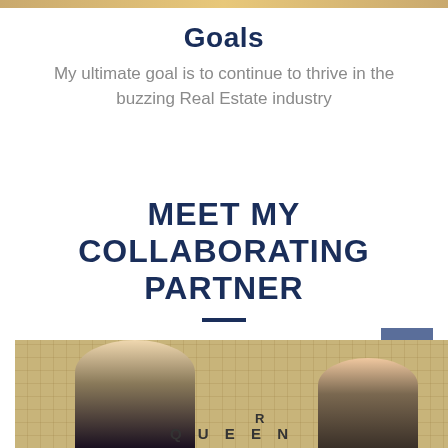Goals
My ultimate goal is to continue to thrive in the buzzing Real Estate industry
MEET MY COLLABORATING PARTNER
[Figure (photo): Two women smiling and standing in front of a large wall-mounted Scrabble board. The word QUEEN is visible on the board at the bottom.]